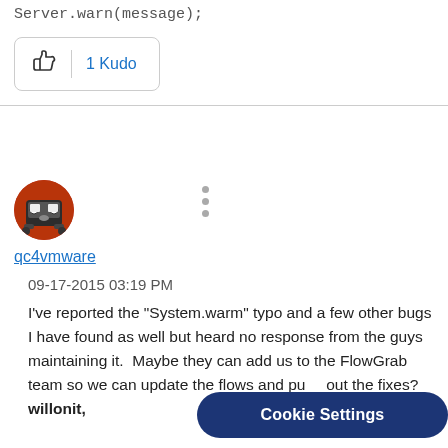Server.warn(message);
1 Kudo
qc4vmware
09-17-2015 03:19 PM
I've reported the "System.warm" typo and a few other bugs I have found as well but heard no response from the guys maintaining it.  Maybe they can add us to the FlowGrab team so we can update the flows and put out the fixes?  willonit,
Cookie Settings